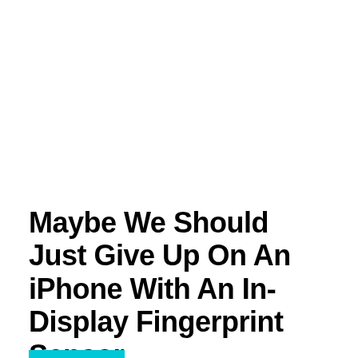Maybe We Should Just Give Up On An iPhone With An In-Display Fingerprint Sensor